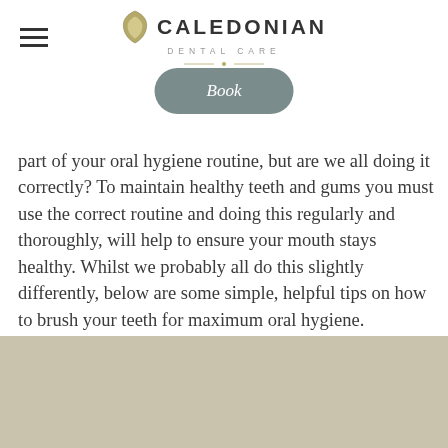Caledonian Dental Care
Book
part of your oral hygiene routine, but are we all doing it correctly? To maintain healthy teeth and gums you must use the correct routine and doing this regularly and thoroughly, will help to ensure your mouth stays healthy. Whilst we probably all do this slightly differently, below are some simple, helpful tips on how to brush your teeth for maximum oral hygiene.